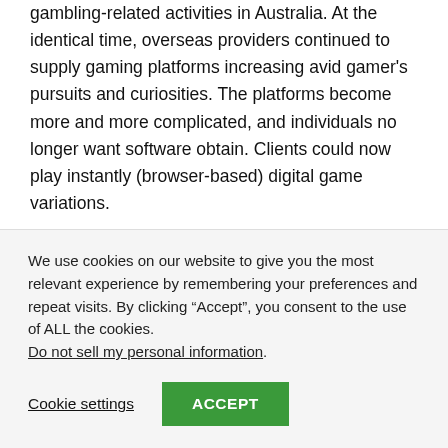gambling-related activities in Australia. At the identical time, overseas providers continued to supply gaming platforms increasing avid gamer's pursuits and curiosities. The platforms become more and more complicated, and individuals no longer want software obtain. Clients could now play instantly (browser-based) digital game variations.
PlayCroco on-line casino presents over 300 cellular pokies, slot machines and desk video games. Australian players love the chance to play heaps of different on
We use cookies on our website to give you the most relevant experience by remembering your preferences and repeat visits. By clicking “Accept”, you consent to the use of ALL the cookies. Do not sell my personal information.